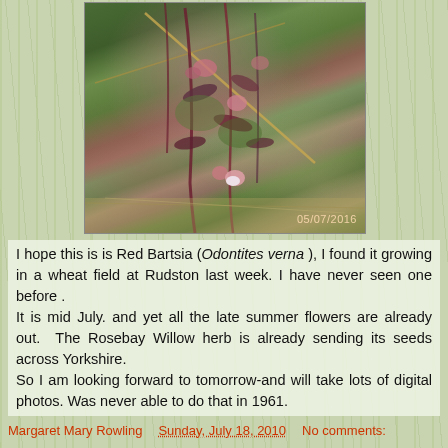[Figure (photo): Close-up photograph of Red Bartsia (Odontites verna) plant with pink-red flowers and green leaves growing in a wheat field. Date stamp 05/07/2016 visible in bottom right corner.]
I hope this is is Red Bartsia (Odontites verna ), I found it growing in a wheat field at Rudston last week. I have never seen one before .
It is mid July. and yet all the late summer flowers are already out.  The Rosebay Willow herb is already sending its seeds across Yorkshire.
So I am looking forward to tomorrow-and will take lots of digital photos. Was never able to do that in 1961.
Margaret Mary Rowling   Sunday, July 18, 2010   No comments: